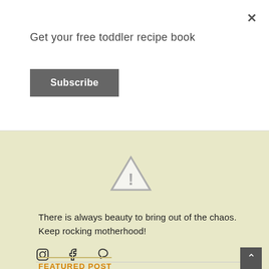Get your free toddler recipe book
Subscribe
[Figure (illustration): Warning/caution triangle icon with exclamation mark]
There is always beauty to bring out of the chaos. Keep rocking motherhood!
[Figure (infographic): Social media icons: Instagram, Facebook, Pinterest]
FEATURED POST